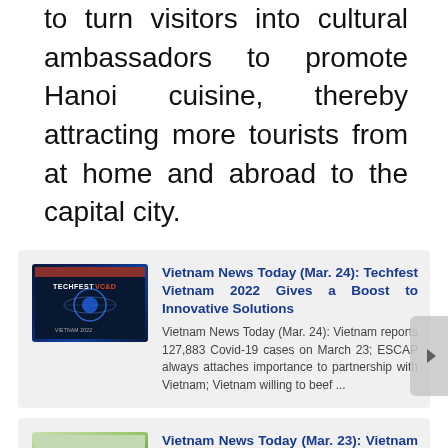to turn visitors into cultural ambassadors to promote Hanoi cuisine, thereby attracting more tourists from at home and abroad to the capital city.
[Figure (photo): Techfest Vietnam 2022 promotional banner with blue tech-themed background and TECHFEST logo]
Vietnam News Today (Mar. 24): Techfest Vietnam 2022 Gives a Boost to Innovative Solutions
Vietnam News Today (Mar. 24): Vietnam reports 127,883 Covid-19 cases on March 23; ESCAP always attaches importance to partnership with Vietnam; Vietnam willing to beef ...
[Figure (photo): Group of tourists engaged in outdoor activity, tourism scene]
Vietnam News Today (Mar. 23): Vietnam Officially Resumes Tourism Activities
Vietnam News Today (Mar. 23): Covid-19 infections fall on six consecutive day, 186,000 more recover; Issuance of Covid-19 vaccination e-certificates to speed up with